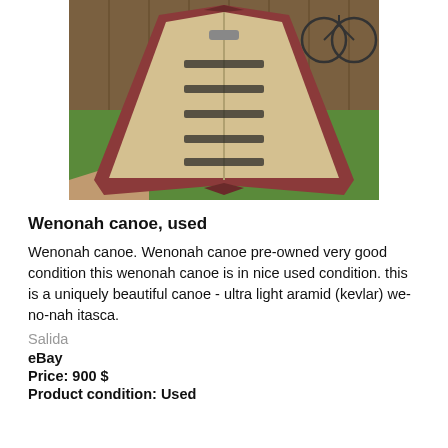[Figure (photo): A Wenonah canoe photographed outdoors on green grass, leaning diagonally, showing the interior with seats. The canoe has a tan/cream interior and dark red/maroon exterior. A wooden fence and bicycle are visible in the background.]
Wenonah canoe, used
Wenonah canoe. Wenonah canoe pre-owned very good condition this wenonah canoe is in nice used condition. this is a uniquely beautiful canoe - ultra light aramid (kevlar) we-no-nah itasca.
Salida
eBay
Price: 900 $
Product condition: Used